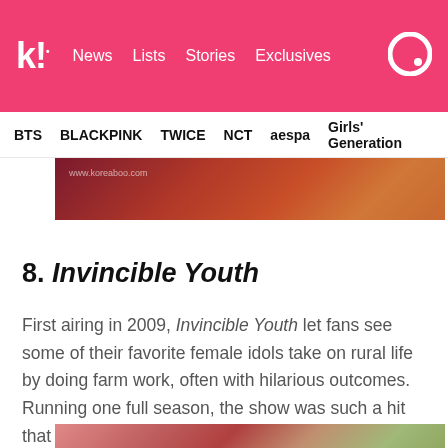k! News Lists Stories Exclusives
BTS BLACKPINK TWICE NCT aespa Girls' Generation
[Figure (photo): Partial photo of people in warm-toned setting, top portion visible]
8. Invincible Youth
First airing in 2009, Invincible Youth let fans see some of their favorite female idols take on rural life by doing farm work, often with hilarious outcomes. Running one full season, the show was such a hit that it came back in 2012 for a second season!
[Figure (photo): Partial photo at bottom showing outdoor rural scene with pink/red rooftop structures and bare trees]